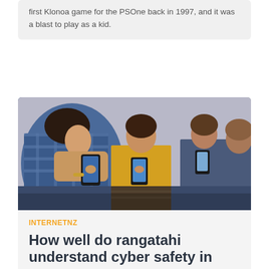first Klonoa game for the PSOne back in 1997, and it was a blast to play as a kid.
[Figure (photo): Photo of several young people sitting side by side, each looking down at and using their smartphones]
INTERNETNZ
How well do rangatahi understand cyber safety in Aotearoa?
Do rangatahi in Aotearoa understand the importance of being safe online, or has lifelong exposure to the